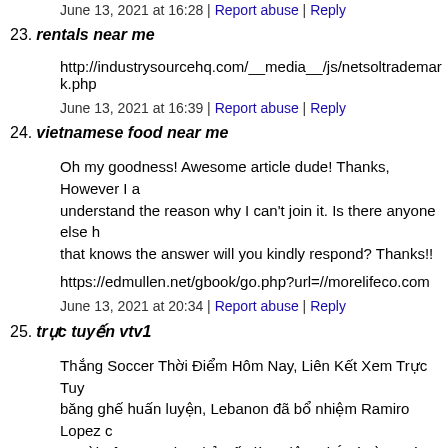June 13, 2021 at 16:28 | Report abuse | Reply
23. rentals near me
http://industrysourcehq.com/__media__/js/netsoltrademark.php
June 13, 2021 at 16:39 | Report abuse | Reply
24. vietnamese food near me
Oh my goodness! Awesome article dude! Thanks, However I am having problems and I can't understand the reason why I can't join it. Is there anyone else having the problem? Anyone that knows the answer will you kindly respond? Thanks!!
https://edmullen.net/gbook/go.php?url=//morelifeco.com
June 13, 2021 at 20:34 | Report abuse | Reply
25. trực tuyến vtv1
Thắng Soccer Thời Điểm Hôm Nay, Liên Kết Xem Trực Tuyến băng ghế huấn luyện, Lebanon đã bổ nhiệm Ramiro Lopez c người Tây Ban Nha chủ yếu làm việc tại Ý và từng có thời g NHM bóng đá Việt Nam đang đợi Minh Trí cùng đồng đội hc lượt về tại đây hai ngày. Chelsea đã phải trải qua 8 phút bù g công.
https://sepiswestwood.com/detail/lich-bong-da-cup-c1-dem-na